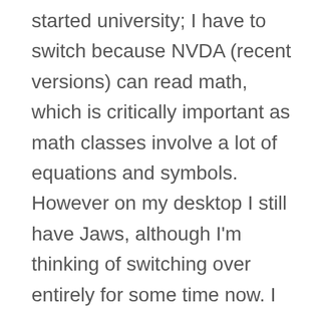started university; I have to switch because NVDA (recent versions) can read math, which is critically important as math classes involve a lot of equations and symbols. However on my desktop I still have Jaws, although I'm thinking of switching over entirely for some time now. I tried once when I tried out Windows 10 November Update but back then NVDA's support for Windows 10 was not good but now, as of the 2017.1 release and the Creator's Update of Windows 10, NVDA's support for Windows 10 has improved a lot.